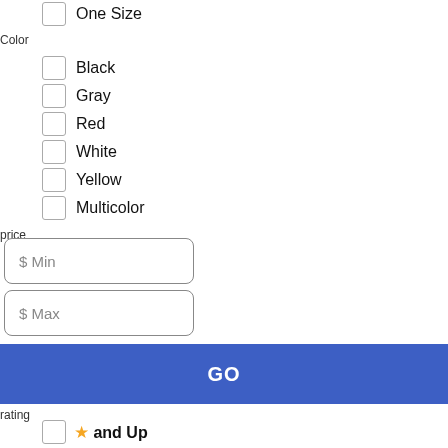One Size
Color
Black
Gray
Red
White
Yellow
Multicolor
price
$ Min
$ Max
GO
rating
4 and Up
Not Yet Rated
brand
Search...